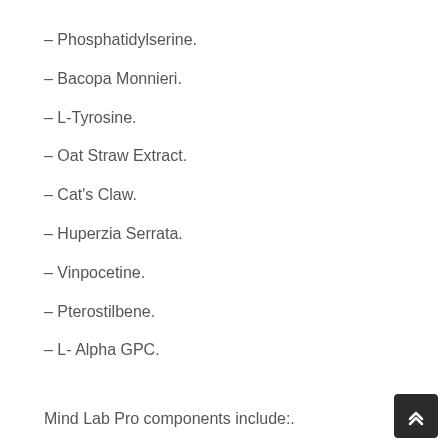– Phosphatidylserine.
– Bacopa Monnieri.
– L-Tyrosine.
– Oat Straw Extract.
– Cat's Claw.
– Huperzia Serrata.
– Vinpocetine.
– Pterostilbene.
– L- Alpha GPC.
Mind Lab Pro components include:.